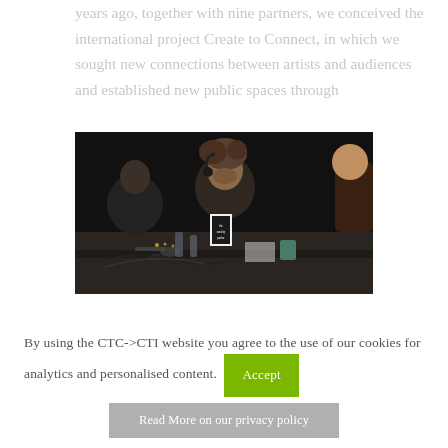years ago, together with nine partners, we conceived the international project Create to Connect, in which we sought new connections between artists and audiences and established new public spaces through
[Figure (photo): People seated around a table in a dark room, with books, cables, glasses and equipment on the table. A young man with curly hair is prominent in the center, and another person is visible in the background on the left.]
By using the CTC->CTI website you agree to the use of our cookies for analytics and personalised content.
Accept
Read More on our privacy policy